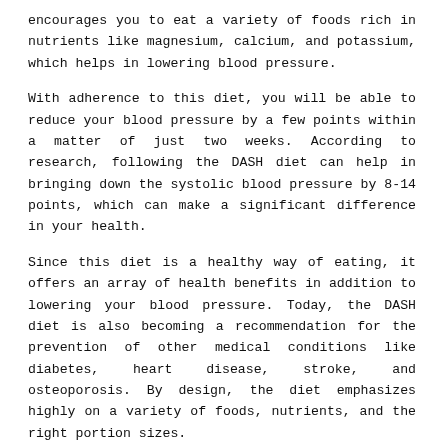encourages you to eat a variety of foods rich in nutrients like magnesium, calcium, and potassium, which helps in lowering blood pressure.
With adherence to this diet, you will be able to reduce your blood pressure by a few points within a matter of just two weeks. According to research, following the DASH diet can help in bringing down the systolic blood pressure by 8-14 points, which can make a significant difference in your health.
Since this diet is a healthy way of eating, it offers an array of health benefits in addition to lowering your blood pressure. Today, the DASH diet is also becoming a recommendation for the prevention of other medical conditions like diabetes, heart disease, stroke, and osteoporosis. By design, the diet emphasizes highly on a variety of foods, nutrients, and the right portion sizes.
1. Management of sodium levels through this diet
This diet emphasizes the consumption of fruits, vegetables, and low-fat dairy foods. A moderate amount of whole grains, fish, poultry, and nuts is also included in this diet. Furthermore,